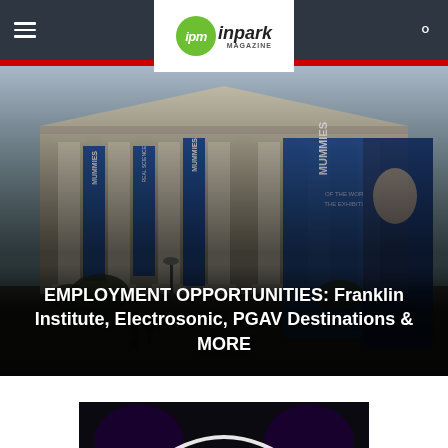ipm inpark MAGAZINE
[Figure (photo): Museum building exterior with classical columns and blue Mummies exhibition banners]
EMPLOYMENT OPPORTUNITIES: Franklin Institute, Electrosonic, PGAV Destinations & MORE
[Figure (photo): Technicolor / dark exhibit logo partial image at bottom of page]